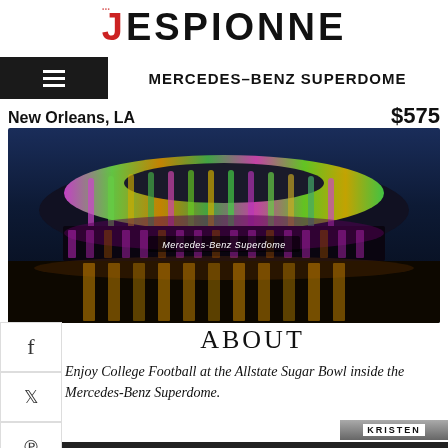JESPIONNE
MERCEDES-BENZ SUPERDOME
New Orleans, LA   $575
[Figure (photo): Night photo of the Mercedes-Benz Superdome illuminated with colorful Mardi Gras lights (purple, green, gold) against a dark sky, with the sign 'Mercedes-Benz Superdome' visible on the facade.]
ABOUT
Enjoy College Football at the Allstate Sugar Bowl inside the Mercedes-Benz Superdome.